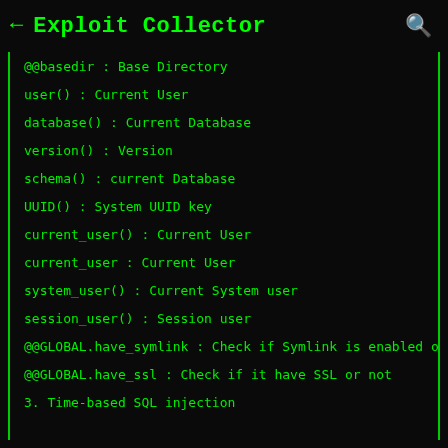← Exploit Collector 🔍
@@basedir : Base Directory
user() : Current User
database() : Current Database
version() : Version
schema() : current Database
UUID() : System UUID key
current_user() : Current User
current_user : Current User
system_user() : Current System user
session_user() : Session user
@@GLOBAL.have_symlink : Check if Symlink is enabled or
@@GLOBAL.have_ssl : Check if it have SSL or not
3. Time-based SQL injection